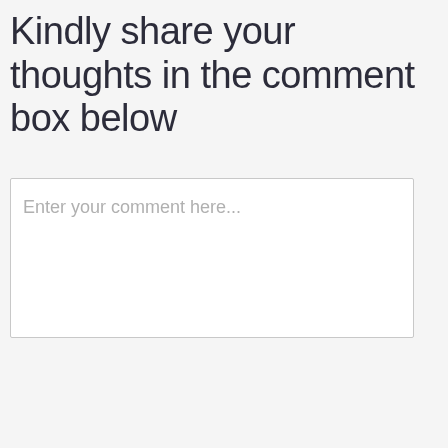Kindly share your thoughts in the comment box below
Enter your comment here...